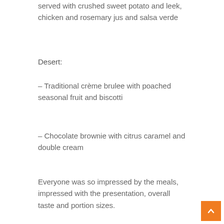served with crushed sweet potato and leek, chicken and rosemary jus and salsa verde
Desert:
– Traditional crème brulee with poached seasonal fruit and biscotti
– Chocolate brownie with citrus caramel and double cream
Everyone was so impressed by the meals, impressed with the presentation, overall taste and portion sizes.